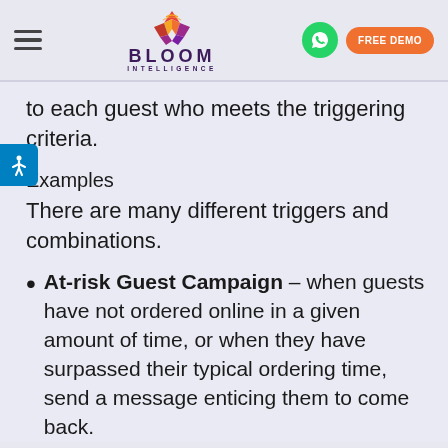[Figure (logo): Bloom Intelligence logo with colorful geometric flower/radar icon above the text BLOOM INTELLIGENCE]
to each guest who meets the triggering criteria.
Examples
There are many different triggers and combinations.
At-risk Guest Campaign – when guests have not ordered online in a given amount of time, or when they have surpassed their typical ordering time, send a message enticing them to come back.